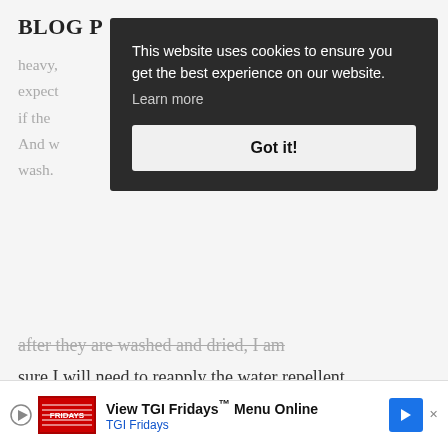BLOG …
heavy, expect if the And w wash. — after they are washed and dried, I am sure I will need to reapply the water repellent. No biggie.
[Figure (screenshot): Cookie consent popup overlay with dark background reading: 'This website uses cookies to ensure you get the best experience on our website. Learn more' and a 'Got it!' button.]
[Figure (infographic): Advertisement banner for TGI Fridays with play button icon, TGI Fridays logo, text 'View TGI Fridays Menu Online' and a blue arrow button. Close X at bottom left.]